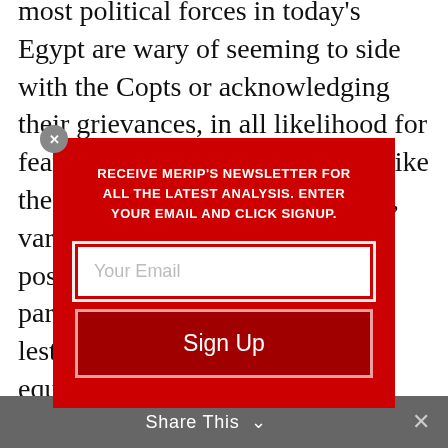most political forces in today's Egypt are wary of seeming to side with the Copts or acknowledging their grievances, in all likelihood for fear of losing popularity. Hence, like the weak transitional government, various parties jockeying for position in advance of the parliamentary ...dyne calls up... nt, lest an outb... the progre... uch equaliz... movem... nce for religiou... o perpetu... compet... s sideline... ists
[Figure (other): Newsletter signup modal overlay on red background with email input field and Sign Up button, and an X close button in the top-left corner]
Share This